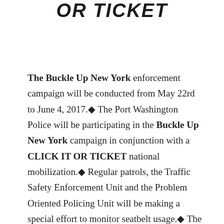OR TICKET
The Buckle Up New York enforcement campaign will be conducted from May 22rd to June 4, 2017. The Port Washington Police will be participating in the Buckle Up New York campaign in conjunction with a CLICK IT OR TICKET national mobilization. Regular patrols, the Traffic Safety Enforcement Unit and the Problem Oriented Policing Unit will be making a special effort to monitor seatbelt usage. The Port Washington Police will continue to employ numerous safety inspection checkpoints at various locations throughout Port Washington.